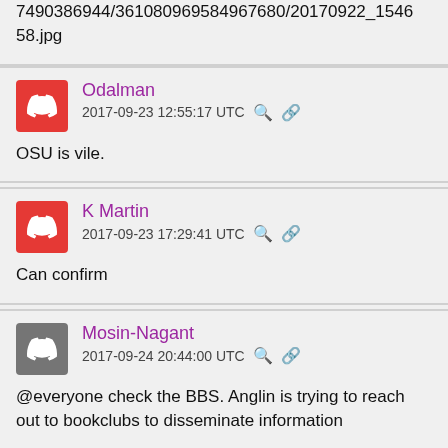7490386944/361080969584967680/20170922_154658.jpg
Odalman
2017-09-23 12:55:17 UTC
OSU is vile.
K Martin
2017-09-23 17:29:41 UTC
Can confirm
Mosin-Nagant
2017-09-24 20:44:00 UTC
@everyone check the BBS. Anglin is trying to reach out to bookclubs to disseminate information